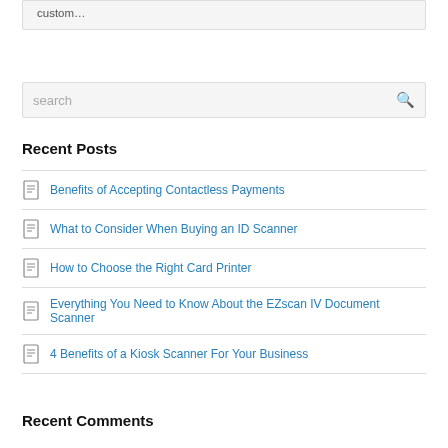custom…
search
Recent Posts
Benefits of Accepting Contactless Payments
What to Consider When Buying an ID Scanner
How to Choose the Right Card Printer
Everything You Need to Know About the EZscan IV Document Scanner
4 Benefits of a Kiosk Scanner For Your Business
Recent Comments